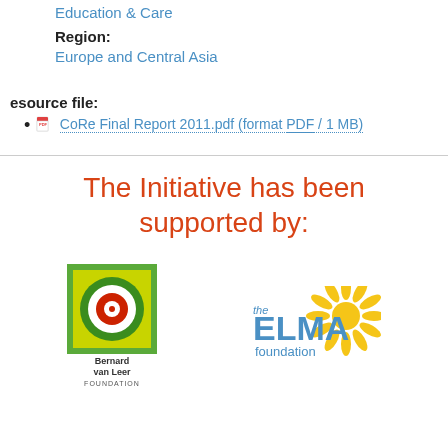Education & Care
Region:
Europe and Central Asia
Resource file:
CoRe Final Report 2011.pdf (format PDF / 1 MB)
The Initiative has been supported by:
[Figure (logo): Bernard van Leer Foundation logo - green square with red/white bullseye circle]
[Figure (logo): The ELMA Foundation logo - blue and yellow sunflower design with text]